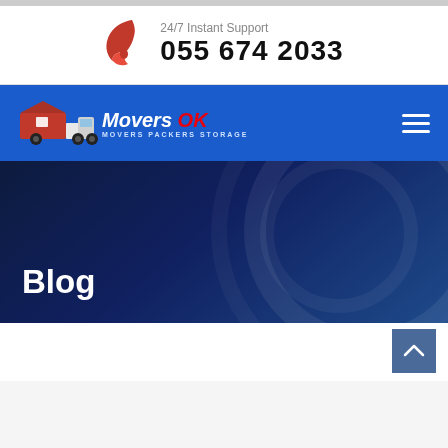24/7 Instant Support
055 674 2033
[Figure (logo): MoversOK logo with truck icon and text 'Movers OK - MOVERS PACKERS STORAGE' on blue navigation bar]
Blog